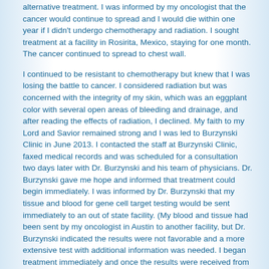alternative treatment. I was informed by my oncologist that the cancer would continue to spread and I would die within one year if I didn't undergo chemotherapy and radiation. I sought treatment at a facility in Rosirita, Mexico, staying for one month. The cancer continued to spread to chest wall.
I continued to be resistant to chemotherapy but knew that I was losing the battle to cancer. I considered radiation but was concerned with the integrity of my skin, which was an eggplant color with several open areas of bleeding and drainage, and after reading the effects of radiation, I declined. My faith to my Lord and Savior remained strong and I was led to Burzynski Clinic in June 2013. I contacted the staff at Burzynski Clinic, faxed medical records and was scheduled for a consultation two days later with Dr. Burzynski and his team of physicians. Dr. Burzynski gave me hope and informed that treatment could begin immediately. I was informed by Dr. Burzynski that my tissue and blood for gene cell target testing would be sent immediately to an out of state facility. (My blood and tissue had been sent by my oncologist in Austin to another facility, but Dr. Burzynski indicated the results were not favorable and a more extensive test with additional information was needed. I began treatment immediately and once the results were received from gene cell target testing, treatment was altered accordingly, which proved to be effective with my cancer.
My physicians at Burzynski Clinic and I immediately began to see improvement of the chest wall, with healing and regression of tumors. (The painful, itchy tumors had also begun to spread to my back and upper abdomen. Photographs had been taken by staff at the Burzynski Clinic periodically to monitor the status of the tumors). My family and I are elated to know that the treatment rendered by Dr. Burzynski and his